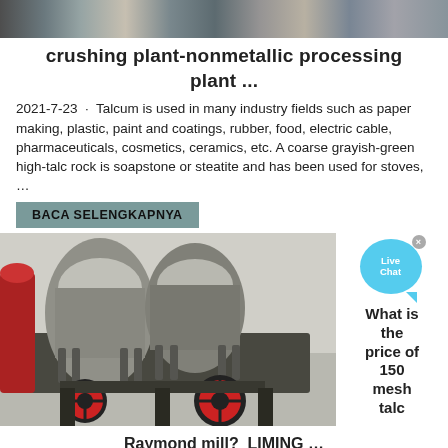[Figure (photo): Top portion of an industrial crushing/processing machine photo, partially visible at top of page]
crushing plant-nonmetallic processing plant ...
2021-7-23 · Talcum is used in many industry fields such as paper making, plastic, paint and coatings, rubber, food, electric cable, pharmaceuticals, cosmetics, ceramics, etc. A coarse grayish-green high-talc rock is soapstone or steatite and has been used for stoves, …
BACA SELENGKAPNYA
[Figure (photo): Industrial Raymond mill / cone crusher machines with red flywheels and grey metal body, in a factory setting]
What is the price of 150 mesh talc
Raymond mill?_LIMING …
2021-3-5 · As we all know, 150 mesh talc powder is widely used in